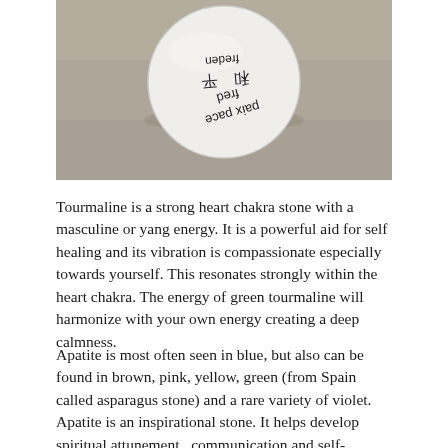[Figure (photo): A round white button/pin with text 'paix pace fred 和 平 freden' written in multiple languages including Chinese characters, placed on a concrete/stone surface.]
Tourmaline is a strong heart chakra stone with a masculine or yang energy. It is a powerful aid for self healing and its vibration is compassionate especially towards yourself. This resonates strongly within the heart chakra. The energy of green tourmaline will harmonize with your own energy creating a deep calmness.
Apatite is most often seen in blue, but also can be found in brown, pink, yellow, green (from Spain called asparagus stone) and a rare variety of violet. Apatite is an inspirational stone. It helps develop spiritual attunement., communication and self-expression.